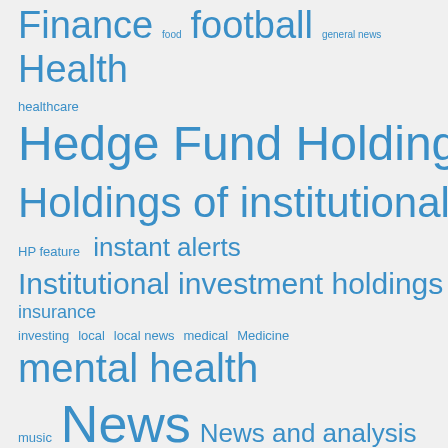[Figure (other): Tag cloud with finance, news, and general topic keywords in varying font sizes and blue color on light gray background. Tags include: Finance, food, football, general news, Health, healthcare, Hedge Fund Holdings, Holdings of institutional investors, HP feature, instant alerts, Institutional investment holdings, insurance, investing, local, local news, medical, Medicine, mental health, music, News, News and analysis, NFL, option data report, Personal finance, Political / General News, politics, research, science, SEC documents, SEC Filings, sport, sports, technology, trade, Us, work]